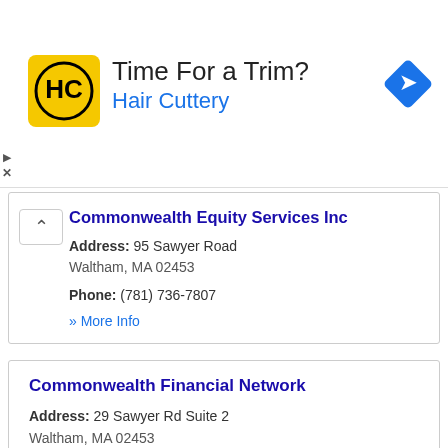[Figure (infographic): Advertisement banner for Hair Cuttery with yellow logo, text 'Time For a Trim? Hair Cuttery', and blue navigation arrow icon]
Commonwealth Equity Services Inc
Address: 95 Sawyer Road
Waltham, MA 02453
Phone: (781) 736-7807
» More Info
Commonwealth Financial Network
Address: 29 Sawyer Rd Suite 2
Waltham, MA 02453
Phone: (781) 736-0700
» More Info